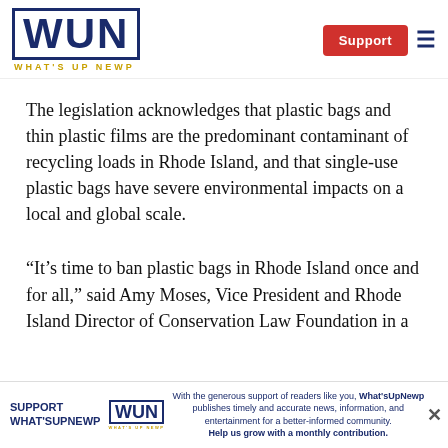WUN — WHAT'S UP NEWP
The legislation acknowledges that plastic bags and thin plastic films are the predominant contaminant of recycling loads in Rhode Island, and that single-use plastic bags have severe environmental impacts on a local and global scale.
“It’s time to ban plastic bags in Rhode Island once and for all,” said Amy Moses, Vice President and Rhode Island Director of Conservation Law Foundation in a
SUPPORT WHAT'SUPNEWP — With the generous support of readers like you, What'sUpNewp publishes timely and accurate news, information, and entertainment for a better-informed community. Help us grow with a monthly contribution.